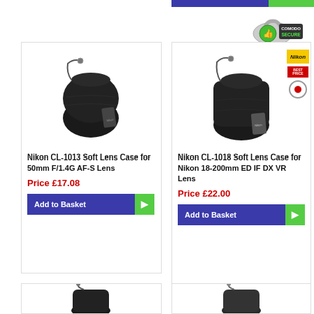[Figure (screenshot): Top partial bar (purple and green) visible at top right of page]
[Figure (logo): Comodo SSL secure badge with padlock icon and text 'Comodo SSL']
[Figure (photo): Nikon CL-1013 black soft lens pouch bag]
Nikon CL-1013 Soft Lens Case for 50mm F/1.4G AF-S Lens
Price £17.08
Add to Basket
[Figure (photo): Nikon CL-1018 black soft lens pouch bag with brand badges on right side]
Nikon CL-1018 Soft Lens Case for Nikon 18-200mm ED IF DX VR Lens
Price £22.00
Add to Basket
[Figure (photo): Partial view of another Nikon lens case (bottom left card, cropped)]
[Figure (photo): Partial view of another Nikon lens case (bottom right card, cropped)]